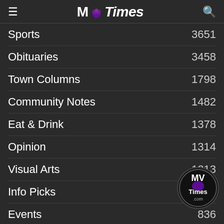MV Times
Sports 3651
Obituaries 3458
Town Columns 1798
Community Notes 1482
Eat & Drink 1378
Opinion 1314
Visual Arts 1213
Info Picks 1112
Events 836
Films 698
Business Briefs 648
Chilmark
Editorial